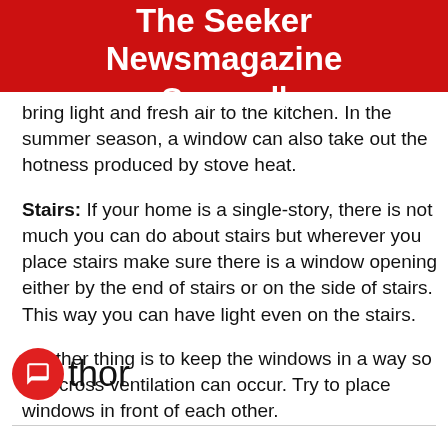The Seeker Newsmagazine Cornwall
bring light and fresh air to the kitchen. In the summer season, a window can also take out the hotness produced by stove heat.
Stairs: If your home is a single-story, there is not much you can do about stairs but wherever you place stairs make sure there is a window opening either by the end of stairs or on the side of stairs. This way you can have light even on the stairs.
Another thing is to keep the windows in a way so that cross ventilation can occur. Try to place windows in front of each other.
thor